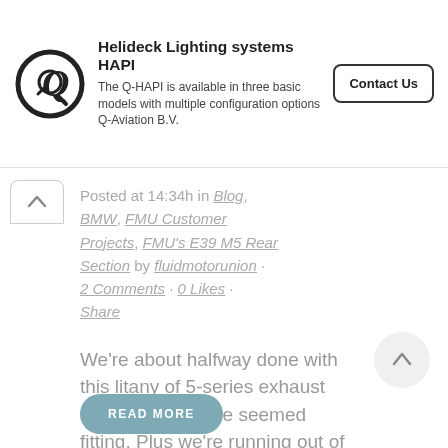[Figure (logo): Q-Aviation logo: circular Q with arrow inside]
Helideck Lighting systems HAPI
The Q-HAPI is available in three basic models with multiple configuration options Q-Aviation B.V.
Contact Us
Posted at 14:34h in Blog, BMW, FMU Customer Projects, FMU's E39 M5 Rear Section by fluidmotorunion · 2 Comments · 0 Likes · Share
We're about halfway done with this litany of 5-series exhaust setups, so the title seemed fitting. Plus we're running out of pipe titles.
READ MORE